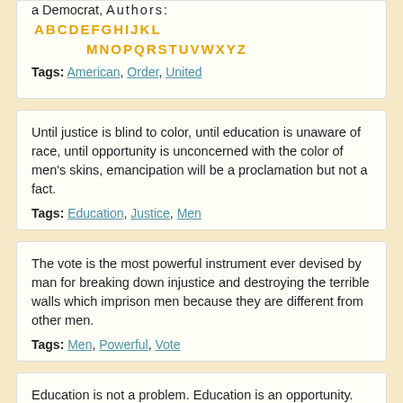a Democrat, Authors: A B C D E F G H I J K L M N O P Q R S T U V W X Y Z
Tags: American, Order, United
Until justice is blind to color, until education is unaware of race, until opportunity is unconcerned with the color of men's skins, emancipation will be a proclamation but not a fact.
Tags: Education, Justice, Men
The vote is the most powerful instrument ever devised by man for breaking down injustice and destroying the terrible walls which imprison men because they are different from other men.
Tags: Men, Powerful, Vote
Education is not a problem. Education is an opportunity.
Tags: Education, Problem